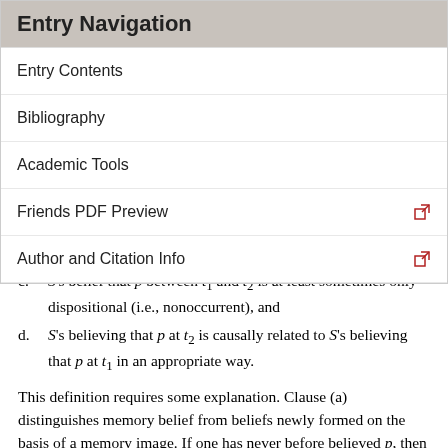Entry Navigation
Entry Contents
Bibliography
Academic Tools
Friends PDF Preview
Author and Citation Info
c. S's belief that p between t1 and t2 is at least sometimes only dispositional (i.e., nonoccurrent), and
d. S's believing that p at t2 is causally related to S's believing that p at t1 in an appropriate way.
This definition requires some explanation. Clause (a) distinguishes memory belief from beliefs newly formed on the basis of a memory image. If one has never before believed p, then S can't now have a memory belief that p, although one might now form a belief for the first time on the basis of a memory image. Clause (b) is...